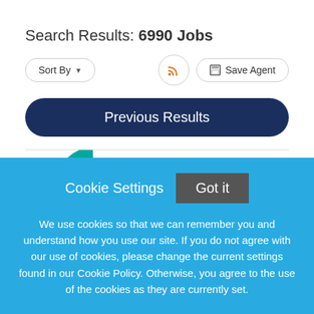Search Results: 6990 Jobs
[Figure (screenshot): Sort By button with dropdown arrow, RSS icon button, and Save Agent button]
Previous Results
[Figure (logo): Partial Tenet logo with circular graphic in green and orange/blue]
Cookie Settings
Got it
We use cookies so that we can remember you and understand how you use our site. If you do not agree with our use of cookies, please change the current settings found in our Cookie Policy. Otherwise, you agree to the use of the cookies as they are currently set.